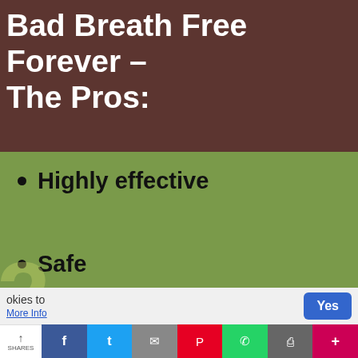Bad Breath Free Forever – The Pros:
Highly effective
Safe
Natural
[Figure (screenshot): Popup widget showing a green dot, a black counter showing '0', text 'Active visitors today.' and 'by Benifit.app', with an X close button]
okies to
More Info
Yes
SHARES — Facebook, Twitter, Email, Pinterest, WhatsApp, Print, Plus